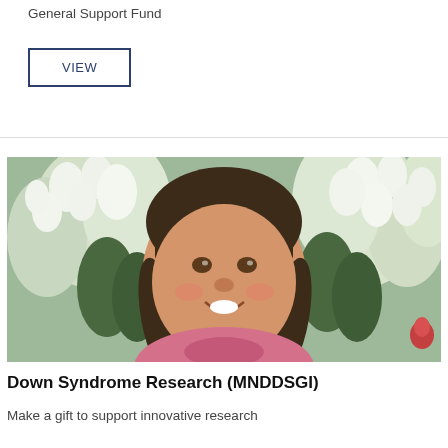General Support Fund
VIEW
[Figure (photo): A smiling young girl with Down syndrome, wearing pigtail braids and a pink shirt, in front of white flowering plants.]
Down Syndrome Research (MNDDSGI)
Make a gift to support innovative research